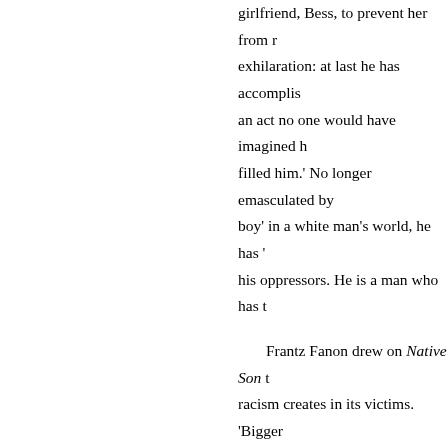girlfriend, Bess, to prevent her from r… exhilaration: at last he has accomplish… an act no one would have imagined h… filled him.' No longer emasculated by… boy' in a white man's world, he has '… his oppressors. He is a man who has t… Frantz Fanon drew on Native Son t… racism creates in its victims. 'Bigger … afraid of what?' Fanon wrote in Black… himself. We don't yet know who he is… world once the world finds out.' For b… is a way to 'put an end to the tension,… dominated society. 'The black man is… So in order to break the vicious circle… provides an irresistible glimpse of fre… would write of anti-colonial violence… want to kill.' Bigger tells his lawyer…